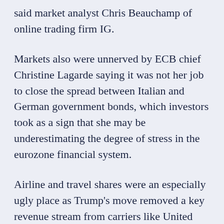said market analyst Chris Beauchamp of online trading firm IG.
Markets also were unnerved by ECB chief Christine Lagarde saying it was not her job to close the spread between Italian and German government bonds, which investors took as a sign that she may be underestimating the degree of stress in the eurozone financial system.
Airline and travel shares were an especially ugly place as Trump's move removed a key revenue stream from carriers like United Airlines and Delta Air Lines,both of which lost more than 20%.
The bleak outlook for airlines also again